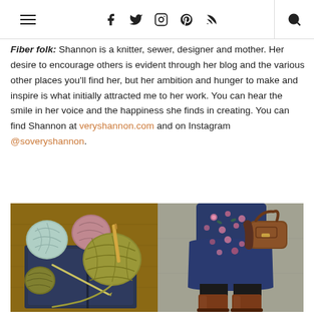Navigation bar with hamburger menu, social icons (Facebook, Twitter, Instagram, Pinterest, RSS), and search
Fiber folk: Shannon is a knitter, sewer, designer and mother. Her desire to encourage others is evident through her blog and the various other places you'll find her, but her ambition and hunger to make and inspire is what initially attracted me to her work. You can hear the smile in her voice and the happiness she finds in creating. You can find Shannon at veryshannon.com and on Instagram @soveryshannon.
[Figure (photo): Two side-by-side photos: left shows colorful yarn balls (light blue, pink/mauve, olive green, yellow) on a dark navy notebook on a wooden surface with a knitting needle; right shows a person from the waist down wearing a floral navy dress, black tights, brown leather knee-high boots, and carrying a brown leather bag.]